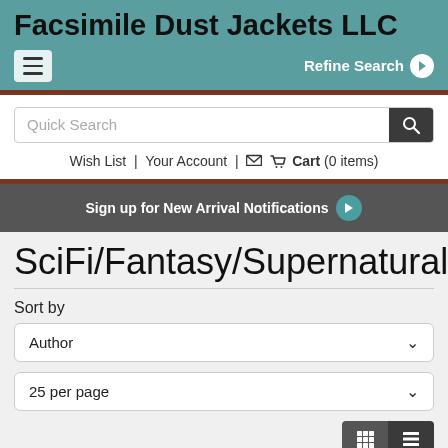Facsimile Dust Jackets LLC
Refine Search
Quick Search
Wish List | Your Account | Cart (0 items)
Sign up for New Arrival Notifications
SciFi/Fantasy/Supernatural
Sort by
Author
25 per page
Results 1 - 25 (of 133)